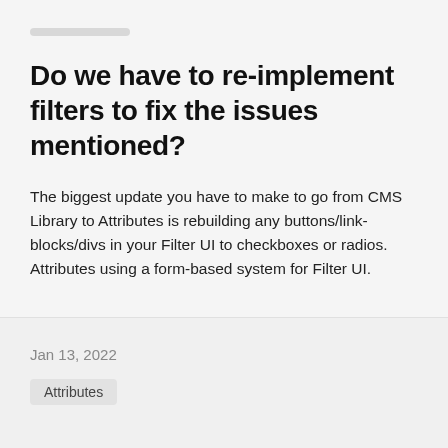Do we have to re-implement filters to fix the issues mentioned?
The biggest update you have to make to go from CMS Library to Attributes is rebuilding any buttons/link-blocks/divs in your Filter UI to checkboxes or radios. Attributes using a form-based system for Filter UI.
Jan 13, 2022
Attributes